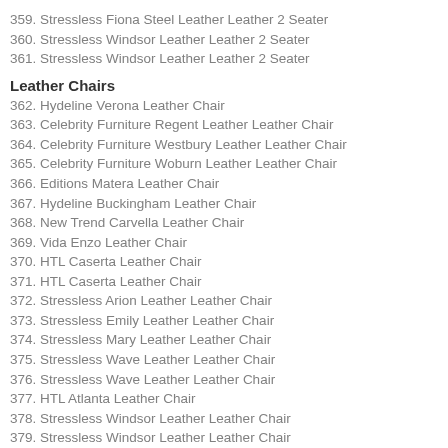359. Stressless Fiona Steel Leather Leather 2 Seater
360. Stressless Windsor Leather Leather 2 Seater
361. Stressless Windsor Leather Leather 2 Seater
Leather Chairs
362. Hydeline Verona Leather Chair
363. Celebrity Furniture Regent Leather Leather Chair
364. Celebrity Furniture Westbury Leather Leather Chair
365. Celebrity Furniture Woburn Leather Leather Chair
366. Editions Matera Leather Chair
367. Hydeline Buckingham Leather Chair
368. New Trend Carvella Leather Chair
369. Vida Enzo Leather Chair
370. HTL Caserta Leather Chair
371. HTL Caserta Leather Chair
372. Stressless Arion Leather Leather Chair
373. Stressless Emily Leather Leather Chair
374. Stressless Mary Leather Leather Chair
375. Stressless Wave Leather Leather Chair
376. Stressless Wave Leather Leather Chair
377. HTL Atlanta Leather Chair
378. Stressless Windsor Leather Leather Chair
379. Stressless Windsor Leather Leather Chair
380. ROM Roma Leather Leather Chair